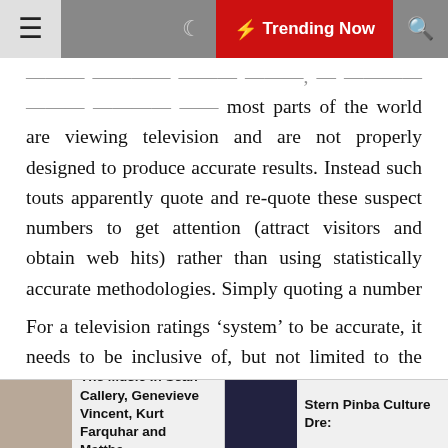☰  🌙  ⚡ Trending Now  🔍
...much research simply may a problem is how people in most parts of the world are viewing television and are not properly designed to produce accurate results. Instead such touts apparently quote and re-quote these suspect numbers to get attention (attract visitors and obtain web hits) rather than using statistically accurate methodologies. Simply quoting a number does not make it accurate. The methodology must be revealed and analyzed.
For a television ratings ‘system’ to be accurate, it needs to be inclusive of, but not limited to the following components:
1.  Live viewing with a large enough sample size to be
The Music In Sean Callery, Genevieve Vincent, Kurt Farquhar and Matthe... | Stern Pinba Culture Dre: